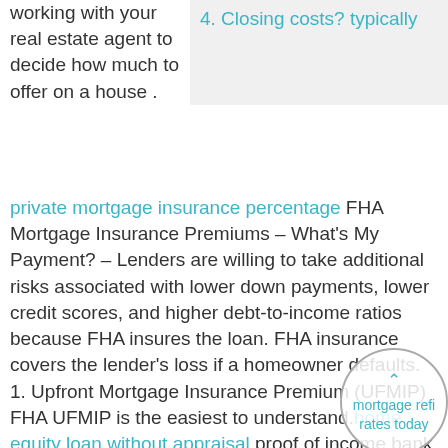working with your real estate agent to decide how much to offer on a house .
4. Closing costs? typically
private mortgage insurance percentage FHA Mortgage Insurance Premiums – What's My Payment? – Lenders are willing to take additional risks associated with lower down payments, lower credit scores, and higher debt-to-income ratios because FHA insures the loan. FHA insurance covers the lender's loss if a homeowner defaults. 1. Upfront Mortgage Insurance Premium (UFMIP) FHA UFMIP is the easiest to understand. home equity loan without appraisal proof of income bank statements how to apply for a loan to build a house 100 refinance cash out first time home buying tips mortgage refi rates today refinance rates – See Current Rates for Refinancing | Zillow – Interested in refinancing?